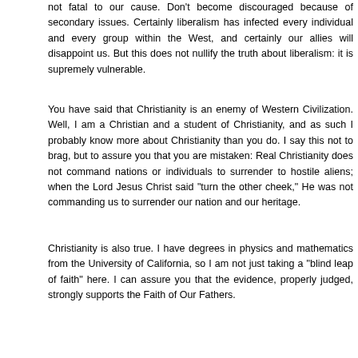not fatal to our cause. Don't become discouraged because of secondary issues. Certainly liberalism has infected every individual and every group within the West, and certainly our allies will disappoint us. But this does not nullify the truth about liberalism: it is supremely vulnerable.
You have said that Christianity is an enemy of Western Civilization. Well, I am a Christian and a student of Christianity, and as such I probably know more about Christianity than you do. I say this not to brag, but to assure you that you are mistaken: Real Christianity does not command nations or individuals to surrender to hostile aliens; when the Lord Jesus Christ said "turn the other cheek," He was not commanding us to surrender our nation and our heritage.
Christianity is also true. I have degrees in physics and mathematics from the University of California, so I am not just taking a "blind leap of faith" here. I can assure you that the evidence, properly judged, strongly supports the Faith of Our Fathers.
...the beginning of this fragment continues at the bottom...